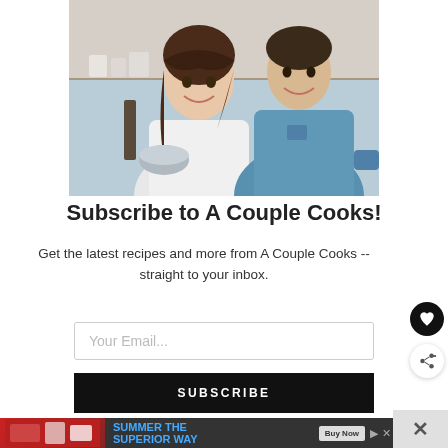[Figure (photo): A smiling couple in a kitchen. A woman in a white shirt holds a mixing bowl, and a man in a denim shirt stands beside her.]
Subscribe to A Couple Cooks!
Get the latest recipes and more from A Couple Cooks -- straight to your inbox.
Your Email...
SUBSCRIBE
[Figure (screenshot): Advertisement banner: SUMMER THE SUPERIOR WAY with Buy Now button]